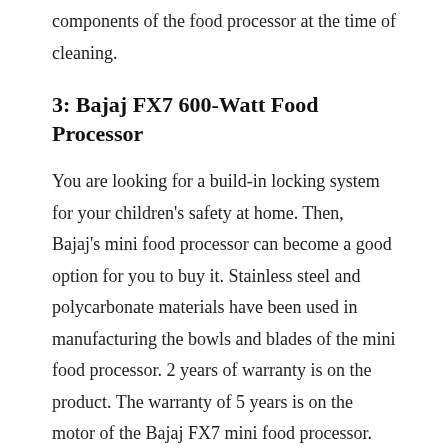components of the food processor at the time of cleaning.
3: Bajaj FX7 600-Watt Food Processor
You are looking for a build-in locking system for your children's safety at home. Then, Bajaj's mini food processor can become a good option for you to buy it. Stainless steel and polycarbonate materials have been used in manufacturing the bowls and blades of the mini food processor. 2 years of warranty is on the product. The warranty of 5 years is on the motor of the Bajaj FX7 mini food processor.
Powerful Motor